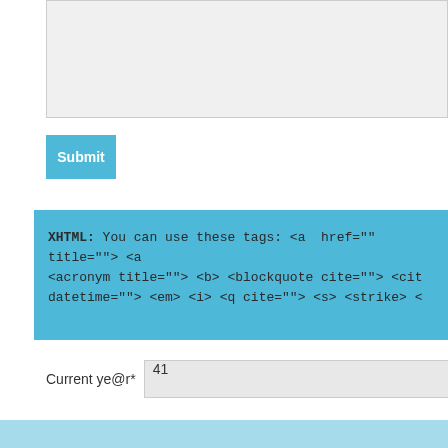[Figure (screenshot): A textarea input field with light gray background]
Submit
XHTML: You can use these tags: <a href="" title=""> <acronym title=""> <b> <blockquote cite=""> <cit datetime=""> <em> <i> <q cite=""> <s> <strike> <
Current ye@r* 41